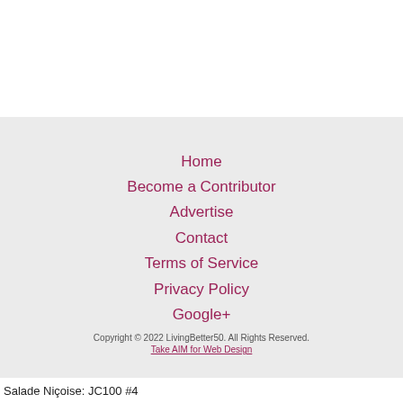Home
Become a Contributor
Advertise
Contact
Terms of Service
Privacy Policy
Google+
Copyright © 2022 LivingBetter50. All Rights Reserved.
Take AIM for Web Design
Salade Niçoise: JC100 #4